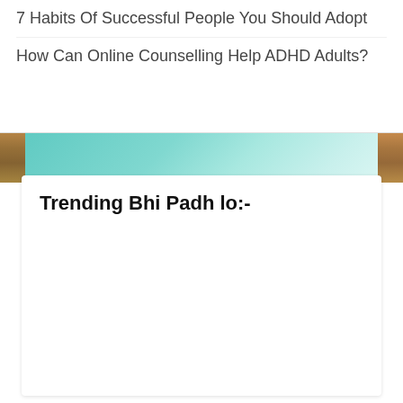7 Habits Of Successful People You Should Adopt
How Can Online Counselling Help ADHD Adults?
[Figure (photo): Decorative banner with teal sky background and architectural images on the sides]
Trending Bhi Padh lo:-